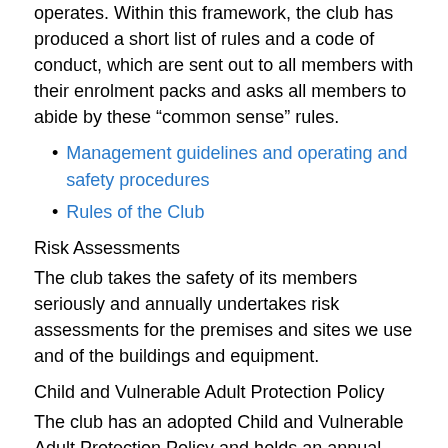operates. Within this framework, the club has produced a short list of rules and a code of conduct, which are sent out to all members with their enrolment packs and asks all members to abide by these “common sense” rules.
Management guidelines and operating and safety procedures
Rules of the Club
Risk Assessments
The club takes the safety of its members seriously and annually undertakes risk assessments for the premises and sites we use and of the buildings and equipment.
Child and Vulnerable Adult Protection Policy
The club has an adopted Child and Vulnerable Adult Protection Policy and holds an annual training session relating to welfare issues to remind everyone about our responsibilities as individuals and a club, to ensure: